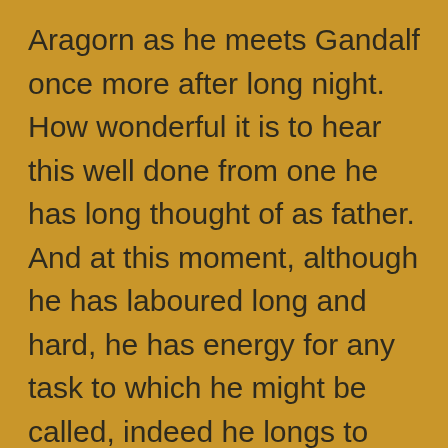Aragorn as he meets Gandalf once more after long night. How wonderful it is to hear this well done from one he has long thought of as father. And at this moment, although he has laboured long and hard, he has energy for any task to which he might be called, indeed he longs to receive orders again.
“The quest of your companions is over. Your next journey is marked by your given word. You must go to